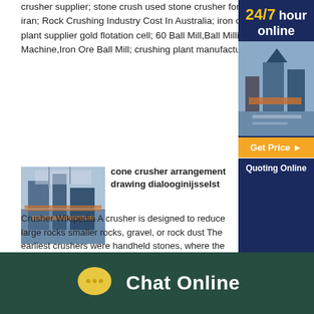crusher supplier; stone crush used stone crusher for sale from iran; Rock Crushing Industry Cost In Australia; iron ore process plant supplier gold flotation cell; 60 Ball Mill,Ball Milling Machine,Iron Ore Ball Mill; crushing plant manufacturers in
[Figure (screenshot): Sidebar with '24/7 hour online' header in dark blue and yellow, a photo of mining/crushing equipment, a yellow 'Get Price' button, and a dark blue 'Quoting Online' button]
[Figure (photo): Thumbnail photo of a large industrial crushing plant with machinery in a warehouse setting]
cone crusher arrangement drawing dialooginijsselst
Crusher Wikipedia A crusher is designed to reduce large rocks smaller rocks, gravel, or rock dust The earliest crushers were handheld stones, where the weight of the stone Throughout most of industrial history, the greatest crushing and mining come from speed increases and better crushing chamber designsget
[Figure (photo): Small blue rectangle thumbnail for second article]
Layout Sketch Of Stone Crusher
[Figure (infographic): Chat Online footer banner with yellow speech bubble icon and white 'Chat Online' text on dark green background]